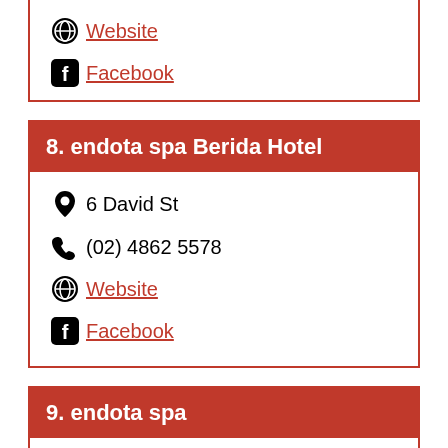(02) 4520 5555
Website
Facebook
8. endota spa Berida Hotel
6 David St
(02) 4862 5578
Website
Facebook
9. endota spa
Shop DG20, Petrie Plaza, Canberra Centre
(02) 6223 2275
Website